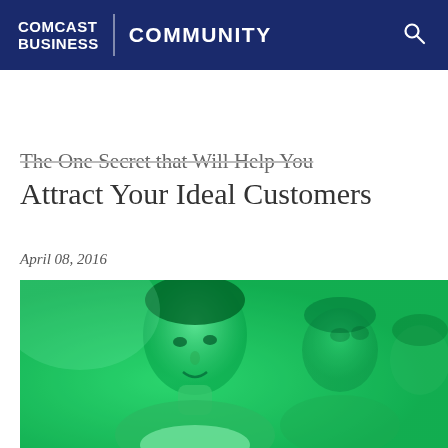COMCAST BUSINESS | COMMUNITY
The One Secret that Will Help You Attract Your Ideal Customers
April 08, 2016
[Figure (photo): Green-tinted photo of a woman in foreground with short hair looking toward camera, other people blurred in background, all with a green color overlay]